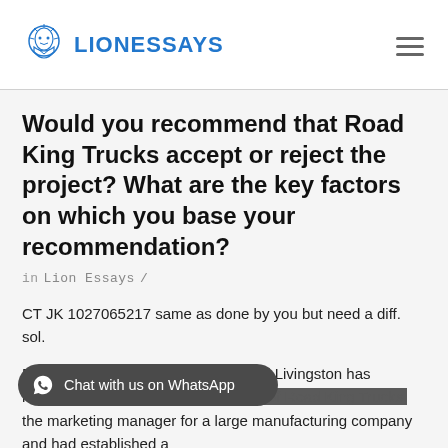LIONESSAYS
Would you recommend that Road King Trucks accept or reject the project? What are the key factors on which you base your recommendation?
in Lion Essays /
CT JK 1027065217 same as done by you but need a diff. sol.
Road King TrucksIntroductionMichael Livingston has recently been appointed as the CEO of Road King Trucks, the marketing manager for a large manufacturing company and had established a